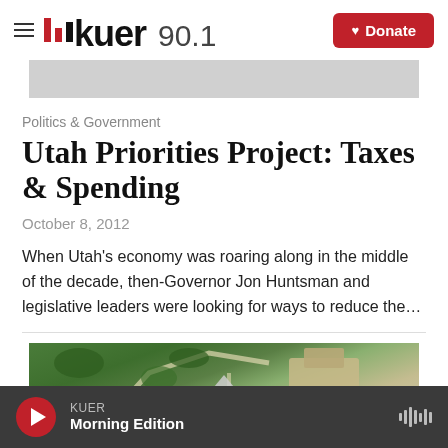KUER 90.1 — Donate
[Figure (photo): Gray placeholder image bar]
Politics & Government
Utah Priorities Project: Taxes & Spending
October 8, 2012
When Utah's economy was roaring along in the middle of the decade, then-Governor Jon Huntsman and legislative leaders were looking for ways to reduce the…
[Figure (photo): Aerial photo of a campus or park with green trees, pathways, and buildings]
KUER Morning Edition